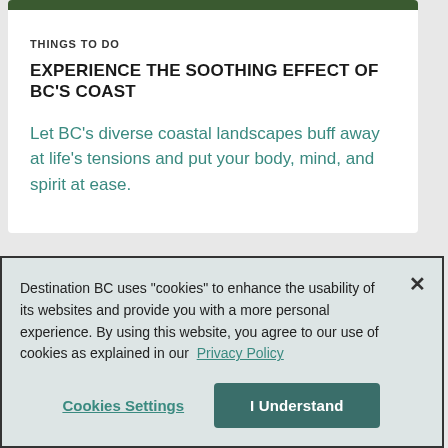[Figure (photo): Partial view of green coastal landscape/vegetation at the top of a card]
THINGS TO DO
EXPERIENCE THE SOOTHING EFFECT OF BC'S COAST
Let BC's diverse coastal landscapes buff away at life's tensions and put your body, mind, and spirit at ease.
Destination BC uses "cookies" to enhance the usability of its websites and provide you with a more personal experience. By using this website, you agree to our use of cookies as explained in our Privacy Policy
Cookies Settings
I Understand